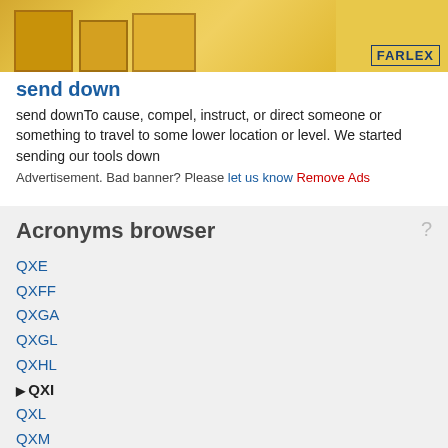[Figure (photo): Screenshot of a Farlex dictionary/reference website showing a banner image with boxes and a Farlex logo]
send down
send downTo cause, compel, instruct, or direct someone or something to travel to some lower location or level. We started sending our tools down
Advertisement. Bad banner? Please let us know Remove Ads
Acronyms browser
QXE
QXFF
QXGA
QXGL
QXHL
QXI
QXL
QXM
QXMC
QXP
QXRD
QXT